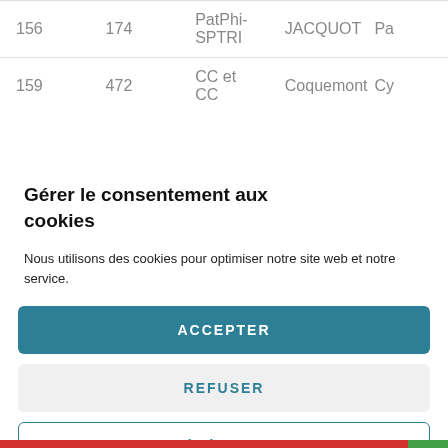| 156 | 174 | PatPhi-SPTRI | JACQUOT | Pa… |
| 159 | 472 | CC et CC | Coquemont | Cy… |
Gérer le consentement aux cookies
Nous utilisons des cookies pour optimiser notre site web et notre service.
ACCEPTER
REFUSER
PRÉFÉRENCES